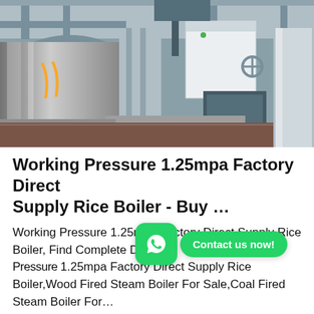[Figure (photo): Industrial boiler room interior showing large metal boiler equipment, pipes, ventilation ducts, and machinery in a factory setting.]
Working Pressure 1.25mpa Factory Direct Supply Rice Boiler - Buy …
Working Pressure 1.25mpa Factory Direct Supply Rice Boiler, Find Complete Details about Working Pressure 1.25mpa Factory Direct Supply Rice Boiler,Wood Fired Steam Boiler For Sale,Coal Fired Steam Boiler For…
Get Price